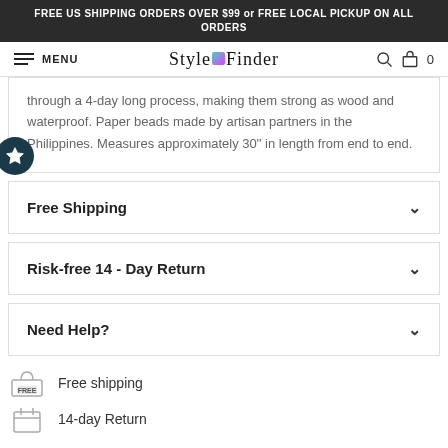FREE US SHIPPING ORDERS OVER $99 or FREE LOCAL PICKUP ON ALL ORDERS
MENU | STYLEFINDER | 0
through a 4-day long process, making them strong as wood and waterproof. Paper beads made by artisan partners in the Philippines. Measures approximately 30" in length from end to end.
Free Shipping
Risk-free 14 - Day Return
Need Help?
Free shipping
14-day Return